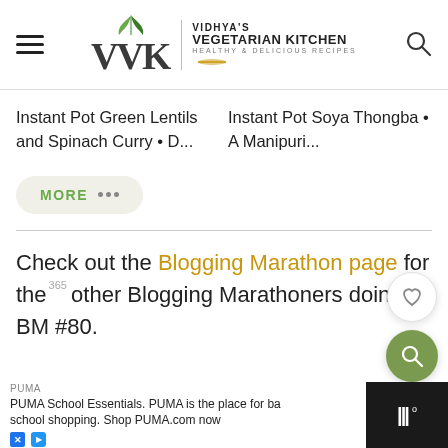VVK | VIDHYA'S VEGETARIAN KITCHEN HEALTHY & DELICIOUS RECIPES
Instant Pot Green Lentils and Spinach Curry • D...
Instant Pot Soya Thongba • A Manipuri...
MORE •••
Check out the Blogging Marathon page for the other Blogging Marathoners doing BM #80.
PUMA - PUMA School Essentials. PUMA is the place for back school shopping. Shop PUMA.com now